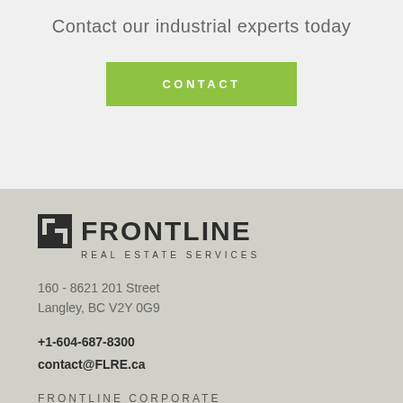Contact our industrial experts today
CONTACT
[Figure (logo): Frontline Real Estate Services logo with stylized F icon and company name]
160 - 8621 201 Street
Langley, BC V2Y 0G9
+1-604-687-8300
contact@FLRE.ca
FRONTLINE CORPORATE
COMMERCIAL REAL ESTATE
CONTACT